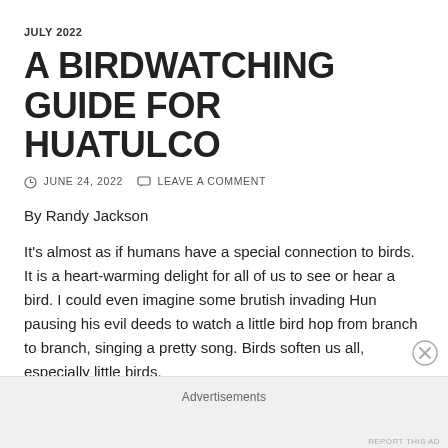JULY 2022
A BIRDWATCHING GUIDE FOR HUATULCO
⊙ JUNE 24, 2022   💬 LEAVE A COMMENT
By Randy Jackson
It's almost as if humans have a special connection to birds. It is a heart-warming delight for all of us to see or hear a bird. I could even imagine some brutish invading Hun pausing his evil deeds to watch a little bird hop from branch to branch, singing a pretty song. Birds soften us all, especially little birds.
Advertisements